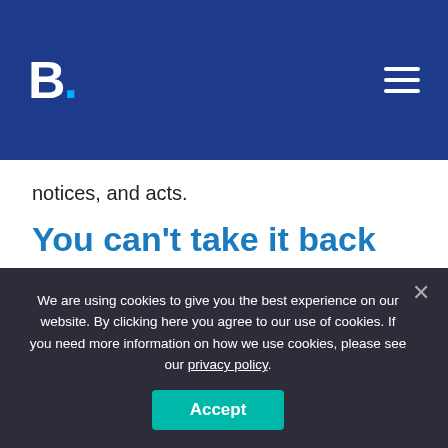B.
notices, and acts.
You can't take it back
A post can go up and down in a minute. But you can never totally take it back. With the limited time a campaign has to get its message out, it cannot afford to be explaining something that shouldn't have been
We are using cookies to give you the best experience on our website. By clicking here you agree to our use of cookies. If you need more information on how we use cookies, please see our privacy policy.
Accept